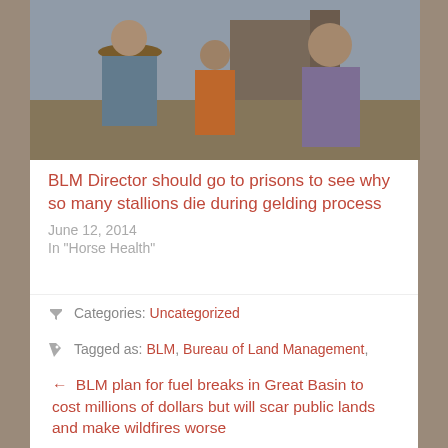[Figure (photo): Outdoor photo of men talking, one wearing a hat and another in a purple shirt, with construction equipment in background]
BLM Director should go to prisons to see why so many stallions die during gelding process
June 12, 2014
In "Horse Health"
Categories: Uncategorized
Tagged as: BLM, Bureau of Land Management, Colorado, David Bernhardt, Public Lands, Ryan Zinke
← BLM plan for fuel breaks in Great Basin to cost millions of dollars but will scar public lands and make wildfires worse
2 Horses Die, Rider Injured in Freak Training Accident at Del